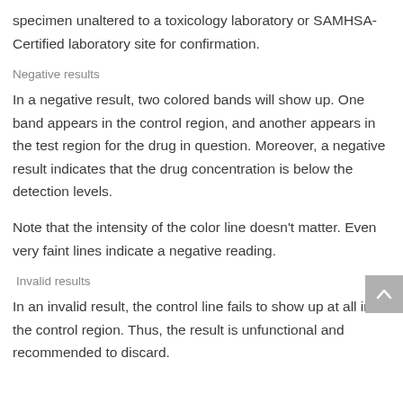specimen unaltered to a toxicology laboratory or SAMHSA-Certified laboratory site for confirmation.
Negative results
In a negative result, two colored bands will show up. One band appears in the control region, and another appears in the test region for the drug in question. Moreover, a negative result indicates that the drug concentration is below the detection levels.
Note that the intensity of the color line doesn't matter. Even very faint lines indicate a negative reading.
Invalid results
In an invalid result, the control line fails to show up at all in the control region. Thus, the result is unfunctional and recommended to discard.